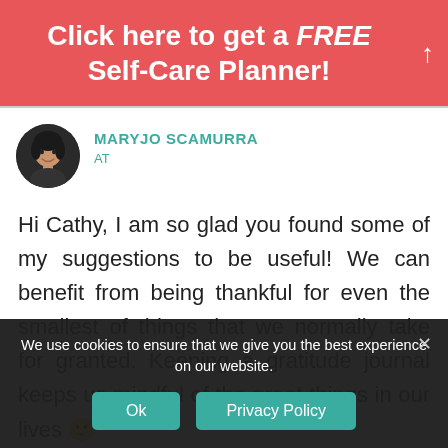Click here to get a FREE Self-Care Planner!
[Figure (photo): Circular avatar photo of Maryjo Scamurra, a woman with dark hair, smiling]
MARYJO SCAMURRA
AT
Hi Cathy, I am so glad you found some of my suggestions to be useful! We can benefit from being thankful for even the smallest of things that we normally take for granted. Keeping a gratitude journal keeps us mindful of the great things in our lives 🙂
We use cookies to ensure that we give you the best experience on our website.